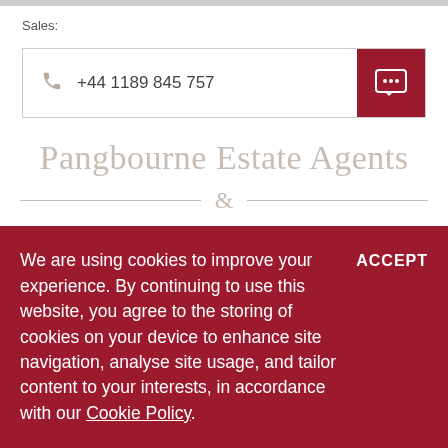Sales:
+44 1189 845 757
Pangbourne Estate Agents
&
Pangbourne Estate
We are using cookies to improve your experience. By continuing to use this website, you agree to the storing of cookies on your device to enhance site navigation, analyse site usage, and tailor content to your interests, in accordance with our Cookie Policy.
ACCEPT